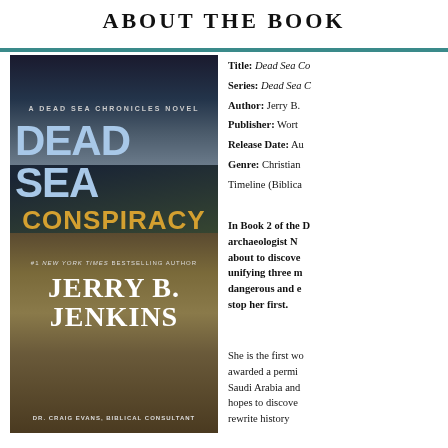ABOUT THE BOOK
[Figure (photo): Book cover of 'Dead Sea Conspiracy' by Jerry B. Jenkins, a Dead Sea Chronicles Novel, with Dr. Craig Evans as Biblical Consultant. Cover shows dramatic sky over ancient ruins. #1 New York Times Bestselling Author.]
Title: Dead Sea Co[nspiracy]
Series: Dead Sea C[hronicles]
Author: Jerry B.[Jenkins]
Publisher: Wort[hPublishing]
Release Date: Au[gust]
Genre: Christian [Fiction /] Timeline (Biblica[l])
In Book 2 of the D[ead Sea Chronicles,] archaeologist N[icole] about to discove[r something] unifying three m[ajor religions,] dangerous and e[nemies want to] stop her first.
She is the first wo[man] awarded a permi[t to dig in] Saudi Arabia and [she] hopes to discove[r something that will] rewrite history[.]